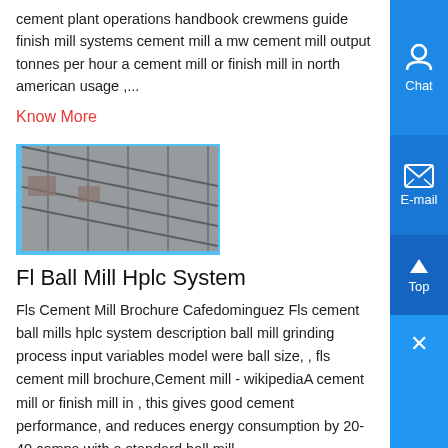cement plant operations handbook crewmens guide finish mill systems cement mill a mw cement mill output tonnes per hour a cement mill or finish mill in north american usage ,...
Know More
[Figure (photo): Photograph of reinforcement steel bars or metal grid structure, black and white, industrial setting]
Fl Ball Mill Hplc System
Fls Cement Mill Brochure Cafedominguez Fls cement ball mills hplc system description ball mill grinding process input variables model were ball size, , fls cement mill brochure,Cement mill - wikipediaA cement mill or finish mill in , this gives good cement performance, and reduces energy consumption by 20-40 compa with a standard ball mill ,...